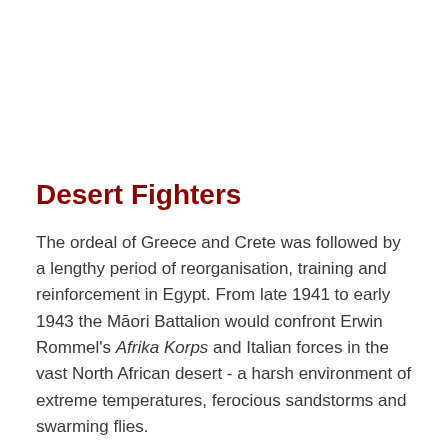Desert Fighters
The ordeal of Greece and Crete was followed by a lengthy period of reorganisation, training and reinforcement in Egypt. From late 1941 to early 1943 the Māori Battalion would confront Erwin Rommel's Afrika Korps and Italian forces in the vast North African desert - a harsh environment of extreme temperatures, ferocious sandstorms and swarming flies.
Read more…